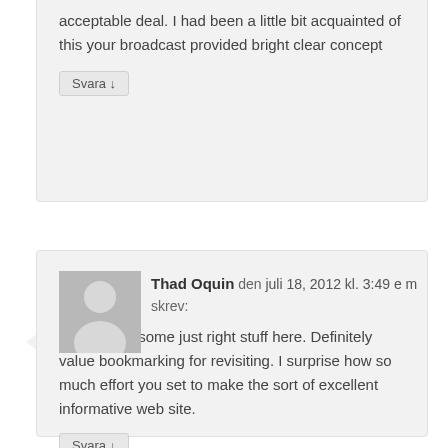acceptable deal. I had been a little bit acquainted of this your broadcast provided bright clear concept
Svara ↓
[Figure (illustration): User avatar placeholder - grey silhouette of a person]
Thad Oquin den juli 18, 2012 kl. 3:49 e m skrev:
I have read some just right stuff here. Definitely value bookmarking for revisiting. I surprise how so much effort you set to make the sort of excellent informative web site.
Svara ↓